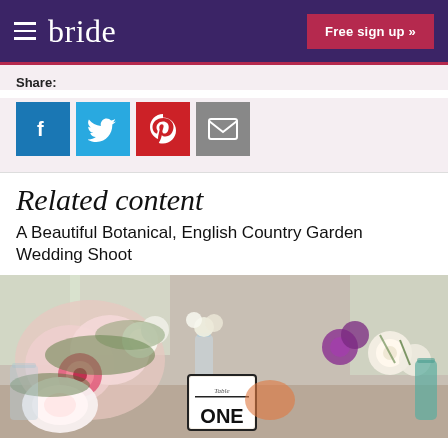bride | Free sign up »
Share:
[Figure (other): Social share icons: Facebook (blue), Twitter (light blue), Pinterest (red), Email (grey)]
Related content
A Beautiful Botanical, English Country Garden Wedding Shoot
[Figure (photo): Botanical English country garden wedding table setting with pink and white floral arrangements, glass vases, and a 'Table ONE' sign card in the foreground]